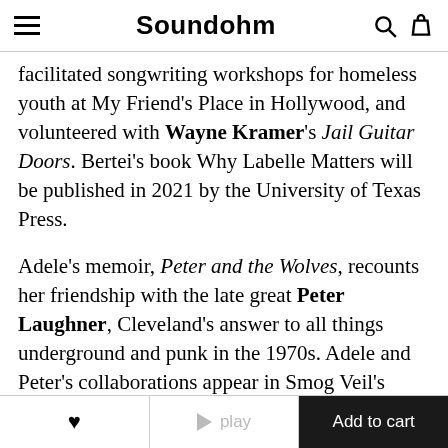Soundohm
facilitated songwriting workshops for homeless youth at My Friend's Place in Hollywood, and volunteered with Wayne Kramer's Jail Guitar Doors. Bertei's book Why Labelle Matters will be published in 2021 by the University of Texas Press.
Adele's memoir, Peter and the Wolves, recounts her friendship with the late great Peter Laughner, Cleveland's answer to all things underground and punk in the 1970s. Adele and Peter's collaborations appear in Smog Veil's groundbreaking 2019 box set. The book is Bertei's intimate recounting of the musical education she
♥  ▶ play  Add to cart